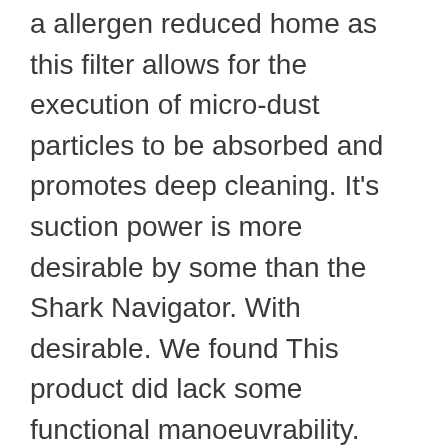a allergen reduced home as this filter allows for the execution of micro-dust particles to be absorbed and promotes deep cleaning. It's suction power is more desirable by some than the Shark Navigator. With desirable. We found This product did lack some functional manoeuvrability. However it's ranking with regards to other functions and features has made this Hoover highly desirable.  This product is great alternative to the Bissell Crosswave. The Hoover ONEPWR HEPA+ Cordless will cost you around $300 excluding shipping and may not be available globally as there may be some restrictions in some countries. Overall this is product is great for big and small jobs and will get the job done.